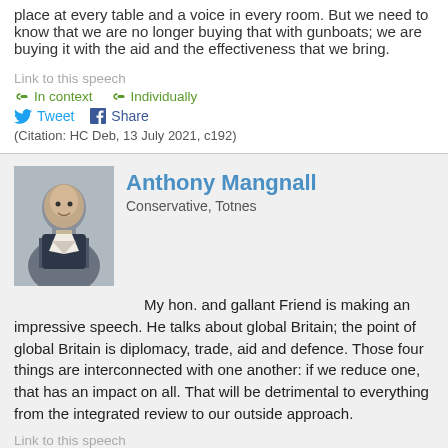place at every table and a voice in every room. But we need to know that we are no longer buying that with gunboats; we are buying it with the aid and the effectiveness that we bring.
Link to this speech
In context   Individually
Tweet   Share
(Citation: HC Deb, 13 July 2021, c192)
Anthony Mangnall
Conservative, Totnes
My hon. and gallant Friend is making an impressive speech. He talks about global Britain; the point of global Britain is diplomacy, trade, aid and defence. Those four things are interconnected with one another: if we reduce one, that has an impact on all. That will be detrimental to everything from the integrated review to our outside approach.
Link to this speech
In context   Individually